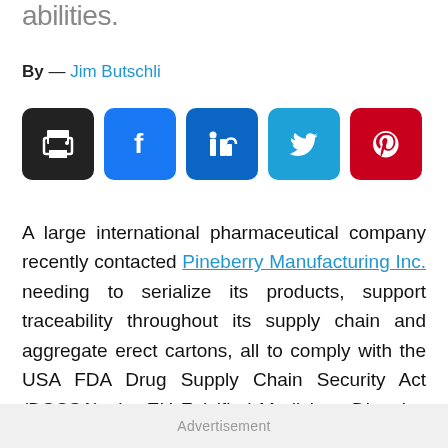abilities.
By — Jim Butschli
[Figure (other): Social sharing icon buttons: print (black), Facebook (blue), LinkedIn (dark blue), Twitter (light blue), Pinterest (red)]
A large international pharmaceutical company recently contacted Pineberry Manufacturing Inc. needing to serialize its products, support traceability throughout its supply chain and aggregate erect cartons, all to comply with the USA FDA Drug Supply Chain Security Act (DSCSA), the EU Falsified Medicines Directive (FMD), and other global market requirements.
Advertisement